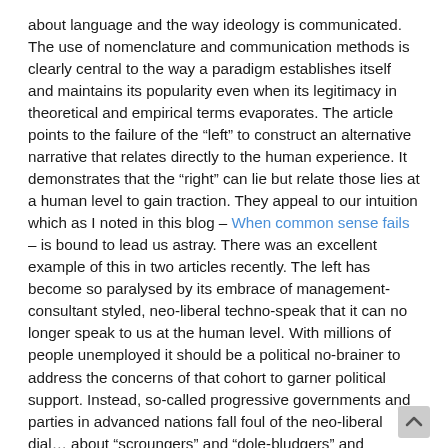about language and the way ideology is communicated. The use of nomenclature and communication methods is clearly central to the way a paradigm establishes itself and maintains its popularity even when its legitimacy in theoretical and empirical terms evaporates. The article points to the failure of the “left” to construct an alternative narrative that relates directly to the human experience. It demonstrates that the “right” can lie but relate those lies at a human level to gain traction. They appeal to our intuition which as I noted in this blog – When common sense fails – is bound to lead us astray. There was an excellent example of this in two articles recently. The left has become so paralysed by its embrace of management-consultant styled, neo-liberal techno-speak that it can no longer speak to us at the human level. With millions of people unemployed it should be a political no-brainer to address the concerns of that cohort to garner political support. Instead, so-called progressive governments and parties in advanced nations fall foul of the neo-liberal dial… about “scroungers” and “dole-bludgers” and demonstrate their